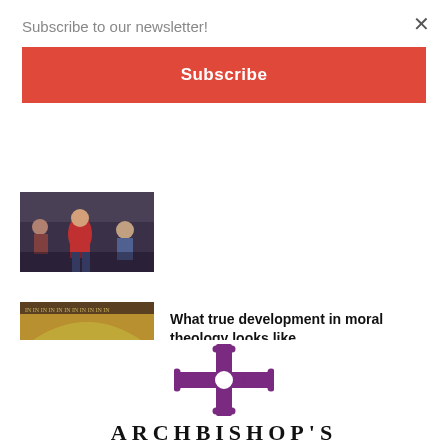Subscribe to our newsletter!
×
Subscribe
[Figure (photo): Partially visible photo of people, one wearing a red top, cropped at top]
What true development in moral theology looks like
August 25, 2022
[Figure (logo): Archbishop's 2022 logo with a purple cross incorporating the year 2022 and text ARCHBISHOP'S below]